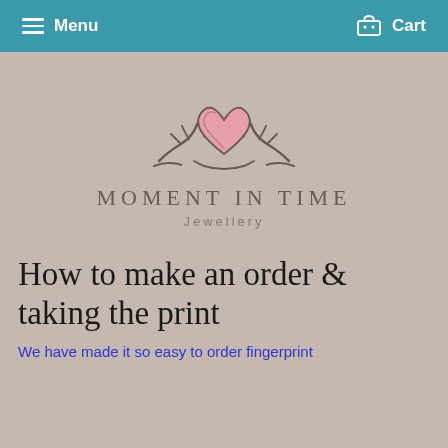Menu   Cart
[Figure (logo): Moment in Time Jewellery logo: two hands forming a heart shape with a pink heart in the center, drawn in an outline style on a taupe/beige background]
MOMENT IN TIME
Jewellery
How to make an order & taking the print
We have made it so easy to order fingerprint